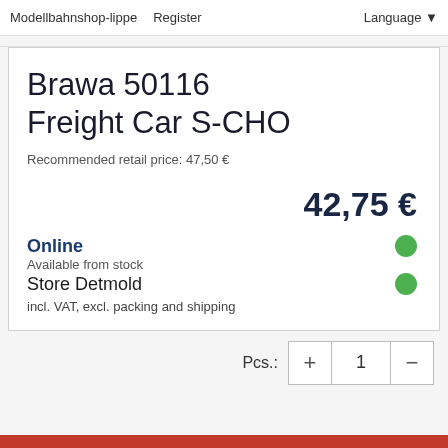Modellbahnshop-lippe   Register   Language
Brawa 50116 Freight Car S-CHO
Recommended retail price: 47,50 €
42,75 €
Online
Available from stock
Store Detmold
incl. VAT, excl. packing and shipping
Pcs.:  +  1  -